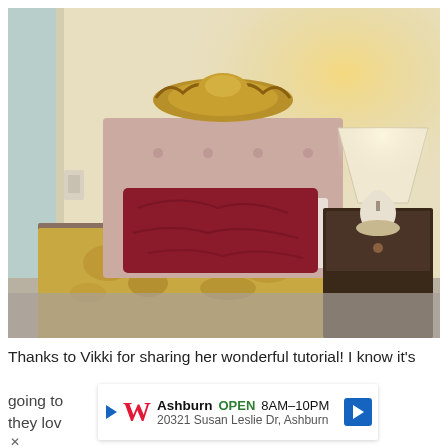[Figure (photo): A bedroom scene showing a single bed with a pink tufted headboard, a large crimson/burgundy pillow, a gold floral bedspread, a dark wooden nightstand, a lamp with a white shade and a porcelain dog figurine base, and a decorative gold ornamental piece mounted on the wall above the headboard. A doorway is visible on the left side of the room.]
Thanks to Vikki for sharing her wonderful tutorial! I know it's going to nething they lov
[Figure (screenshot): A Walgreens advertisement overlay showing: play button icon, Walgreens red W logo, 'Ashburn' in bold, 'OPEN' in green, '8AM-10PM', '20321 Susan Leslie Dr, Ashburn', and a blue navigation arrow button.]